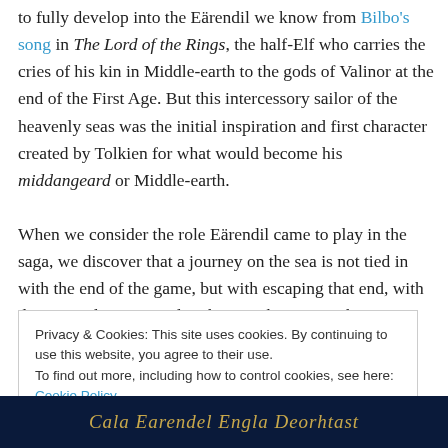to fully develop into the Eärendil we know from Bilbo's song in The Lord of the Rings, the half-Elf who carries the cries of his kin in Middle-earth to the gods of Valinor at the end of the First Age. But this intercessory sailor of the heavenly seas was the initial inspiration and first character created by Tolkien for what would become his middangeard or Middle-earth.

When we consider the role Eärendil came to play in the saga, we discover that a journey on the sea is not tied in with the end of the game, but with escaping that end, with dreams and names, and with a new beginning that comes
Privacy & Cookies: This site uses cookies. By continuing to use this website, you agree to their use.
To find out more, including how to control cookies, see here: Cookie Policy
[Figure (illustration): Dark blue banner with decorative Old English / medieval-style text reading: Cala Earendel Engla Deorhtast]